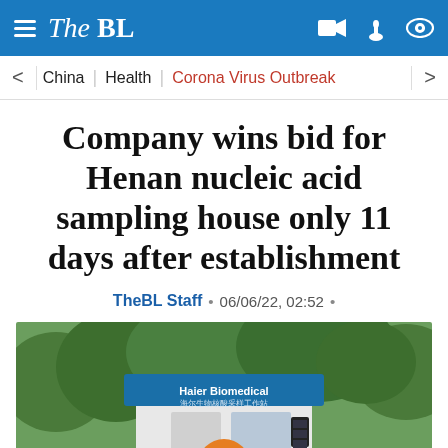The BL
China | Health | Corona Virus Outbreak
Company wins bid for Henan nucleic acid sampling house only 11 days after establishment
TheBL Staff • 06/06/22, 02:52 •
[Figure (photo): Outdoor nucleic acid sampling kiosk labeled 'Haier Biomedical' surrounded by trees and greenery]